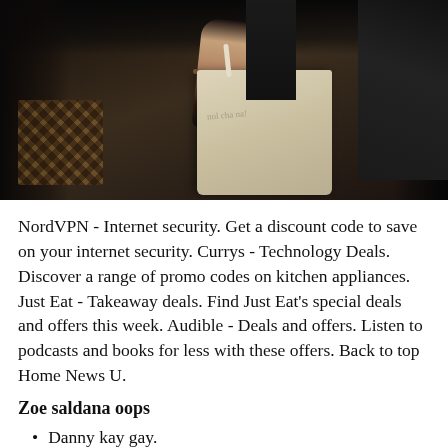[Figure (photo): A person holding a shopping bag, wearing dark clothing with a wristband/bracelet visible. A wicker basket is visible in the background lower left. Dark, moody lighting.]
NordVPN - Internet security. Get a discount code to save on your internet security. Currys - Technology Deals. Discover a range of promo codes on kitchen appliances. Just Eat - Takeaway deals. Find Just Eat's special deals and offers this week. Audible - Deals and offers. Listen to podcasts and books for less with these offers. Back to top Home News U.
Zoe saldana oops
Danny kay gay.
Nekopara vol 1 18 free download.